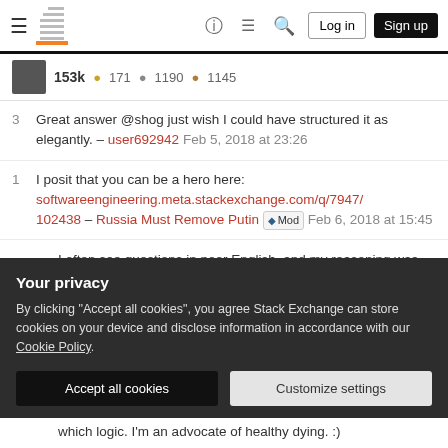Stack Exchange navigation bar with hamburger menu, logo, help, chat, search icons, Log in and Sign up buttons
153k • 171 • 1190 • 1145
3  Great answer @shog just wish I could have structured it as elegantly. – user692942  Feb 5, 2018 at 23:26
1  I posit that you can be a hero here: softwareengineering.meta.stackexchange.com/q/7947/102438 – Russia Must Remove Putin [Mod]  Feb 6, 2018 at 15:45
I often see questions in poor English, and my reasoning was always, that I edit, if it improves the question massively. Unclear questions, lacking
Your privacy
By clicking "Accept all cookies", you agree Stack Exchange can store cookies on your device and disclose information in accordance with our Cookie Policy.
[Accept all cookies] [Customize settings]
which logic. I'm an advocate of healthy dying. :)